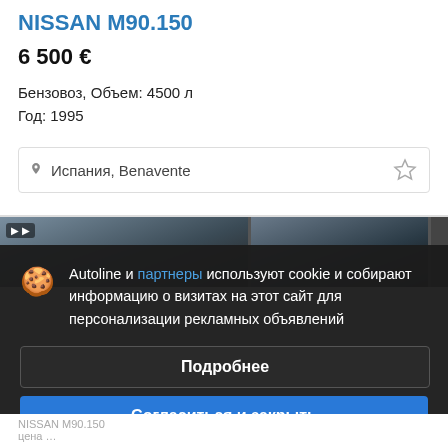NISSAN M90.150
6 500 €
Бензовоз, Объем: 4500 л
Год: 1995
Испания, Benavente
[Figure (photo): Two vehicle photos partially visible in a strip, darkened]
Autoline и партнеры используют cookie и собирают информацию о визитах на этот сайт для персонализации рекламных объявлений
Подробнее
Согласиться и закрыть
Автоцистерна. Евро: Euro 2. Объем: 2000 л Год: 1996-12. Пробег: 40000 км